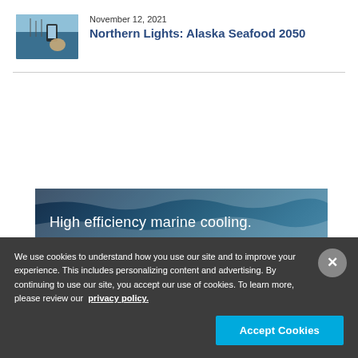[Figure (photo): Thumbnail photo of a marina with boats and a person holding a phone]
November 12, 2021
Northern Lights: Alaska Seafood 2050
[Figure (infographic): Dark blue ocean-textured banner advertisement with text: High efficiency marine cooling.]
We use cookies to understand how you use our site and to improve your experience. This includes personalizing content and advertising. By continuing to use our site, you accept our use of cookies. To learn more, please review our privacy policy.
Accept Cookies